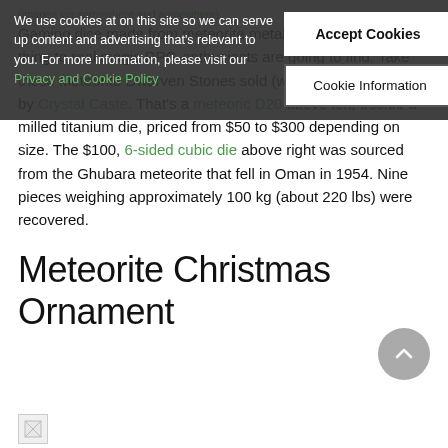(images via somewhere and somewhere)
Gaming dice made from meteorite metal are about the closest thing to real magic RPG-enthusiasts are going to find. Take these Meteorite Dwarven Stones sold (when supply permits) by Crystal Caste. That's a meteoric D20 above left, beside a milled titanium die, priced from $50 to $300 depending on size. The $100, 6-sided cubic die above right was sourced from the Ghubara meteorite that fell in Oman in 1954. Nine pieces weighing approximately 100 kg (about 220 lbs) were recovered.
Meteorite Christmas Ornament
[Figure (other): Cookie consent banner overlay with Accept Cookies and Cookie Information buttons]
[Figure (other): Broken image placeholder at bottom of page]